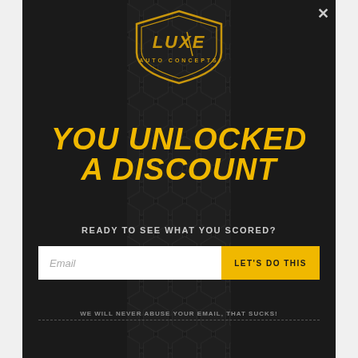[Figure (logo): Luxe Auto Concepts logo — gold shield emblem with stylized LUXE text and AUTO CONCEPTS subtitle]
YOU UNLOCKED A DISCOUNT
READY TO SEE WHAT YOU SCORED?
Email input field with placeholder 'Email' and button 'LET'S DO THIS'
WE WILL NEVER ABUSE YOUR EMAIL, THAT SUCKS!